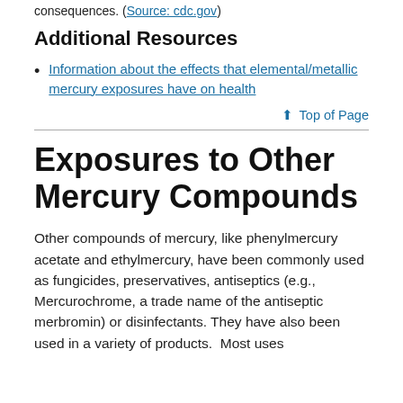consequences. (Source: cdc.gov)
Additional Resources
Information about the effects that elemental/metallic mercury exposures have on health
↑ Top of Page
Exposures to Other Mercury Compounds
Other compounds of mercury, like phenylmercury acetate and ethylmercury, have been commonly used as fungicides, preservatives, antiseptics (e.g., Mercurochrome, a trade name of the antiseptic merbromin) or disinfectants. They have also been used in a variety of products.  Most uses